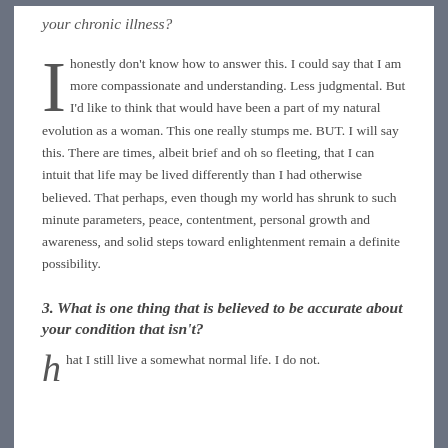your chronic illness?
I honestly don't know how to answer this. I could say that I am more compassionate and understanding. Less judgmental. But I'd like to think that would have been a part of my natural evolution as a woman. This one really stumps me. BUT. I will say this. There are times, albeit brief and oh so fleeting, that I can intuit that life may be lived differently than I had otherwise believed. That perhaps, even though my world has shrunk to such minute parameters, peace, contentment, personal growth and awareness, and solid steps toward enlightenment remain a definite possibility.
3. What is one thing that is believed to be accurate about your condition that isn't?
hat I still live a somewhat normal life. I do not.